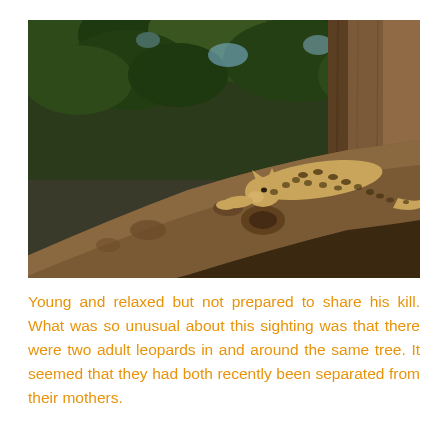[Figure (photo): A leopard resting on a large diagonal tree branch, viewed from below. Green tree canopy visible in the background and upper left. A thick tree trunk visible on the right side. The leopard is stretched out along the rough bark of the branch, spotted coat visible.]
Young and relaxed but not prepared to share his kill. What was so unusual about this sighting was that there were two adult leopards in and around the same tree. It seemed that they had both recently been separated from their mothers.